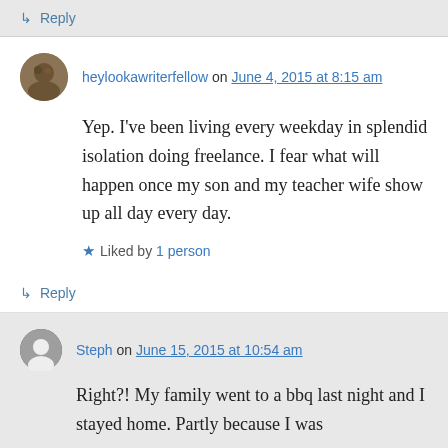↳ Reply
heylookawriterfellow on June 4, 2015 at 8:15 am
Yep. I've been living every weekday in splendid isolation doing freelance. I fear what will happen once my son and my teacher wife show up all day every day.
★ Liked by 1 person
↳ Reply
Steph on June 15, 2015 at 10:54 am
Right?! My family went to a bbq last night and I stayed home. Partly because I was